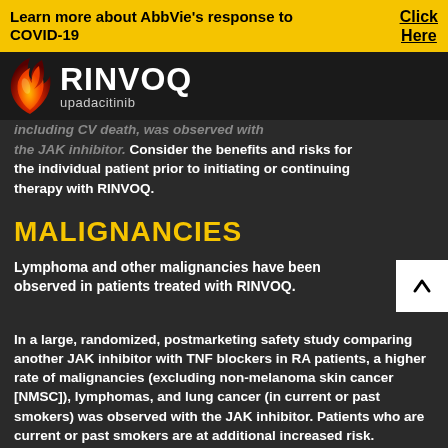Learn more about AbbVie's response to COVID-19   Click Here
[Figure (logo): RINVOQ upadacitinib logo with flame graphic on dark background]
including CV death, was observed with the JAK inhibitor. Consider the benefits and risks for the individual patient prior to initiating or continuing therapy with RINVOQ.
MALIGNANCIES
Lymphoma and other malignancies have been observed in patients treated with RINVOQ.
In a large, randomized, postmarketing safety study comparing another JAK inhibitor with TNF blockers in RA patients, a higher rate of malignancies (excluding non-melanoma skin cancer [NMSC]), lymphomas, and lung cancer (in current or past smokers) was observed with the JAK inhibitor. Patients who are current or past smokers are at additional increased risk.